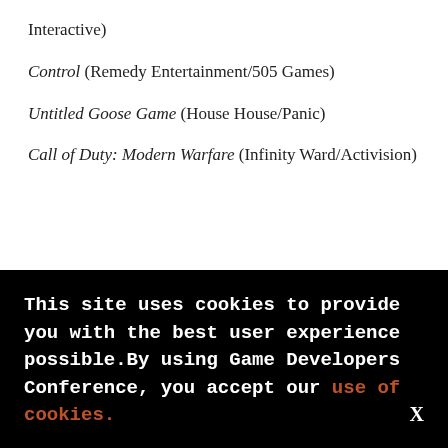Interactive)
Control (Remedy Entertainment/505 Games)
Untitled Goose Game (House House/Panic)
Call of Duty: Modern Warfare (Infinity Ward/Activision)
This site uses cookies to provide you with the best user experience possible.By using Game Developers Conference, you accept our use of cookies.